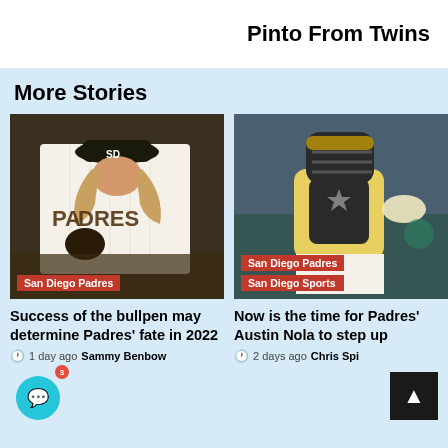Pinto From Twins
More Stories
[Figure (photo): San Diego Padres pitcher with long hair, wearing Padres uniform, mid-windup on mound. Red tag: San Diego Padres]
Success of the bullpen may determine Padres' fate in 2022
1 day ago  Sammy Benbow
[Figure (photo): San Diego Padres catcher Austin Nola in full catcher gear including yellow chest protector, throwing. Red tags: San Diego Padres, San Diego Sports]
Now is the time for Padres' Austin Nola to step up
2 days ago  Chris Spi